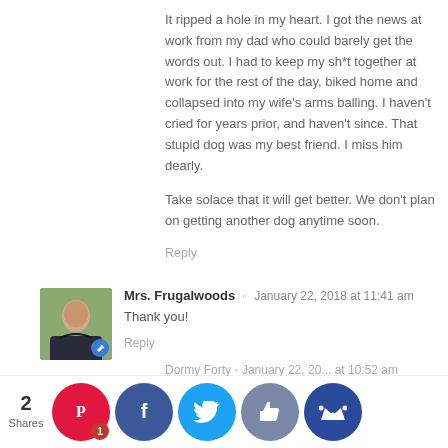It ripped a hole in my heart. I got the news at work from my dad who could barely get the words out. I had to keep my sh*t together at work for the rest of the day, biked home and collapsed into my wife’s arms balling. I haven’t cried for years prior, and haven’t since. That stupid dog was my best friend. I miss him dearly.

Take solace that it will get better. We don’t plan on getting another dog anytime soon.
Reply
Mrs. Frugalwoods ◦ January 22, 2018 at 11:41 am
Thank you!
Reply
Cynthia ◦ January 22, 2018 at 10:52 am
I am so sorry for your loss. I recently lost my sweet dog after 14 years with her and it definitely leaves a hole. You and your family will be in my thoughts and prayers!
2 Shares